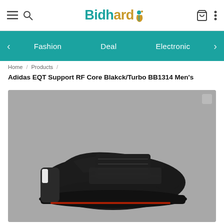Bidhard — navigation header with hamburger menu, search, cart, and options icons
Fashion   Deal   Electronic
Home / Products / Adidas EQT Support RF Core Blakck/Turbo BB1314 Men's
Adidas EQT Support RF Core Blakck/Turbo BB1314 Men's
[Figure (photo): Product photo of Adidas EQT Support RF Core Black/Turbo BB1314 Men's sneaker, side view on gray background]